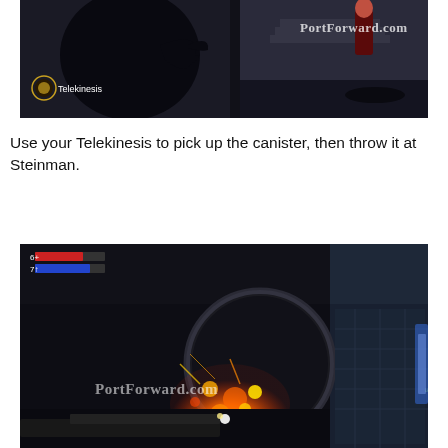[Figure (screenshot): Video game screenshot showing a dark indoor scene with a shadowy figure (large black creature) in foreground, stairs and another character in background, 'Telekinesis' ability indicator in bottom-left corner, 'PortForward.com' watermark in top-right]
Use your Telekinesis to pick up the canister, then throw it at Steinman.
[Figure (screenshot): Video game screenshot showing a large black circular canister being thrown with fire/explosion effect, HUD showing health bar (6+) and another bar (7), 'PortForward.com' watermark and '#Deactivate' text visible, dark industrial environment]